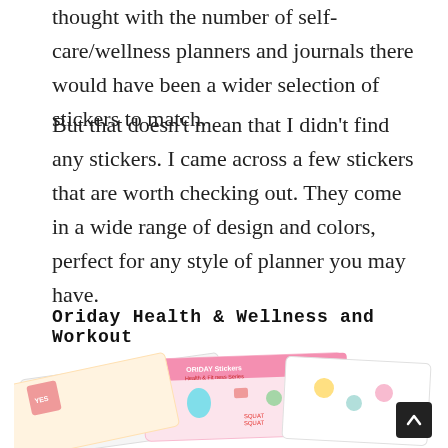thought with the number of self-care/wellness planners and journals there would have been a wider selection of stickers to match.
But that doesn't mean that I didn't find any stickers. I came across a few stickers that are worth checking out. They come in a wide range of design and colors, perfect for any style of planner you may have.
Oriday Health & Wellness and Workout
[Figure (photo): Multiple sheets of Oriday Health & Fitness stickers fanned out, showing workout and wellness themed sticker designs including yoga poses, gym equipment, motivational phrases, and health icons.]